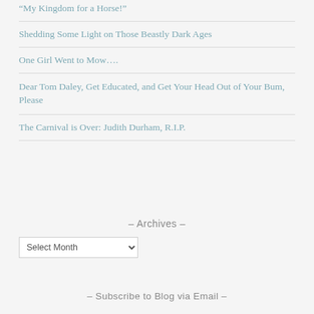“My Kingdom for a Horse!”
Shedding Some Light on Those Beastly Dark Ages
One Girl Went to Mow….
Dear Tom Daley, Get Educated, and Get Your Head Out of Your Bum, Please
The Carnival is Over: Judith Durham, R.I.P.
- Archives -
- Subscribe to Blog via Email -